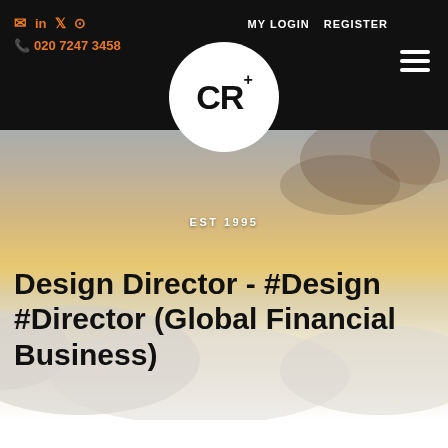✉ in 🐦 📷  MY LOGIN  REGISTER  📞 020 7247 3458
[Figure (logo): CR+ logo in white circle on dark header background, with text 'EST 1995' below]
Design Director - #Design #Director (Global Financial Business)